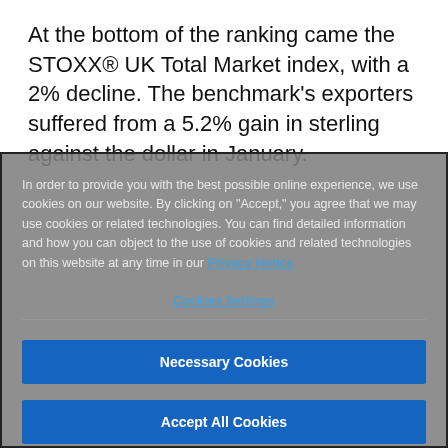At the bottom of the ranking came the STOXX® UK Total Market index, with a 2% decline. The benchmark's exporters suffered from a 5.2% gain in sterling against the dollar in January.
In order to provide you with the best possible online experience, we use cookies on our website. By clicking on "Accept," you agree that we may use cookies or related technologies. You can find detailed information and how you can object to the use of cookies and related technologies on this website at any time in our Privacy Notice
Cookies Settings
Necessary Cookies
Accept All Cookies